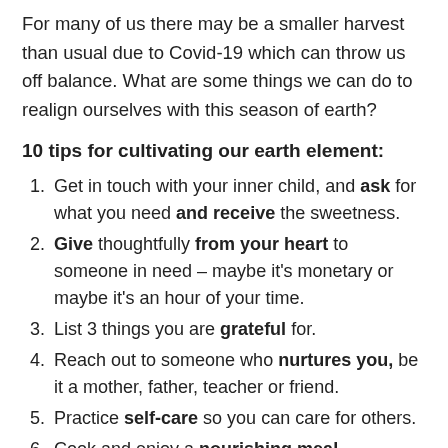For many of us there may be a smaller harvest than usual due to Covid-19 which can throw us off balance. What are some things we can do to realign ourselves with this season of earth?
10 tips for cultivating our earth element:
Get in touch with your inner child, and ask for what you need and receive the sweetness.
Give thoughtfully from your heart to someone in need – maybe it's monetary or maybe it's an hour of your time.
List 3 things you are grateful for.
Reach out to someone who nurtures you, be it a mother, father, teacher or friend.
Practice self-care so you can care for others.
Cook and enjoy a nourishing meal – something warm